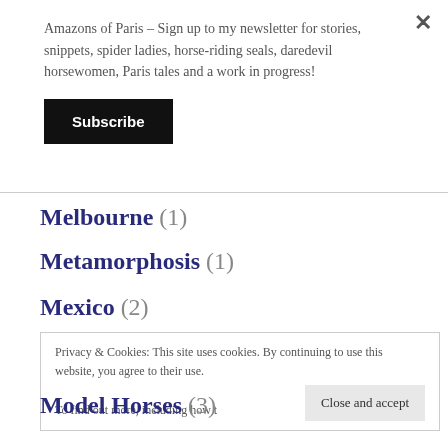×
Amazons of Paris – Sign up to my newsletter for stories, snippets, spider ladies, horse-riding seals, daredevil horsewomen, Paris tales and a work in progress!
Subscribe
Melbourne (1)
Metamorphosis (1)
Mexico (2)
Privacy & Cookies: This site uses cookies. By continuing to use this website, you agree to their use.
To find out more, including how to control cookies, see here: Cookie Policy
Close and accept
Model Horses (3)